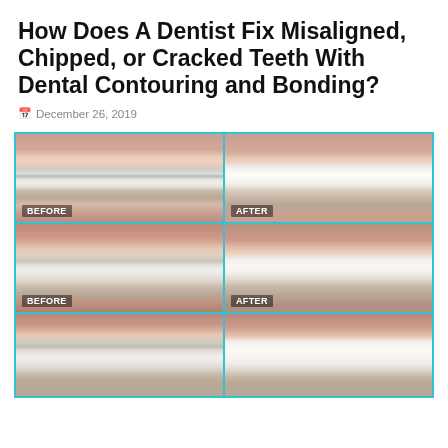How Does A Dentist Fix Misaligned, Chipped, or Cracked Teeth With Dental Contouring and Bonding?
December 26, 2019
[Figure (photo): Before and after dental contouring and bonding treatment results showing three patient cases. Top row: misaligned/chipped teeth (BEFORE) and corrected smile (AFTER). Middle row: overlapping/misaligned teeth (BEFORE) and improved alignment (AFTER). Bottom row (partial): crowded teeth (BEFORE) and improved smile (AFTER).]